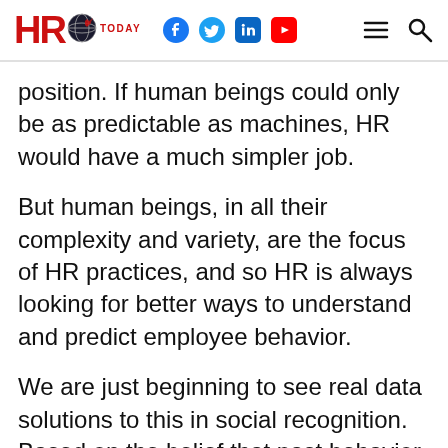HR Today
position. If human beings could only be as predictable as machines, HR would have a much simpler job.
But human beings, in all their complexity and variety, are the focus of HR practices, and so HR is always looking for better ways to understand and predict employee behavior.
We are just beginning to see real data solutions to this in social recognition. Based on the belief that past behavior